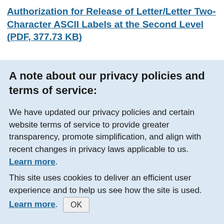Authorization for Release of Letter/Letter Two-Character ASCII Labels at the Second Level (PDF, 377.73 KB)
A note about our privacy policies and terms of service:
We have updated our privacy policies and certain website terms of service to provide greater transparency, promote simplification, and align with recent changes in privacy laws applicable to us. Learn more.
This site uses cookies to deliver an efficient user experience and to help us see how the site is used. Learn more. OK